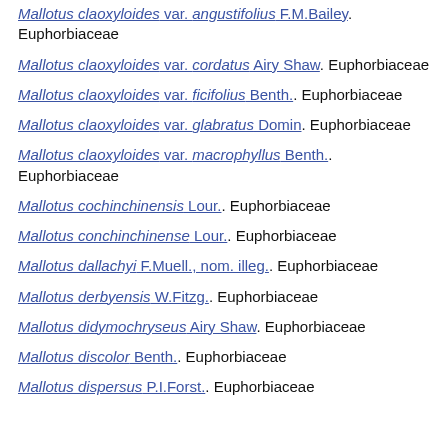Mallotus claoxyloides var. angustifolius F.M.Bailey. Euphorbiaceae
Mallotus claoxyloides var. cordatus Airy Shaw. Euphorbiaceae
Mallotus claoxyloides var. ficifolius Benth.. Euphorbiaceae
Mallotus claoxyloides var. glabratus Domin. Euphorbiaceae
Mallotus claoxyloides var. macrophyllus Benth.. Euphorbiaceae
Mallotus cochinchinensis Lour.. Euphorbiaceae
Mallotus conchinchinense Lour.. Euphorbiaceae
Mallotus dallachyi F.Muell., nom. illeg.. Euphorbiaceae
Mallotus derbyensis W.Fitzg.. Euphorbiaceae
Mallotus didymochryseus Airy Shaw. Euphorbiaceae
Mallotus discolor Benth.. Euphorbiaceae
Mallotus dispersus P.I.Forst.. Euphorbiaceae